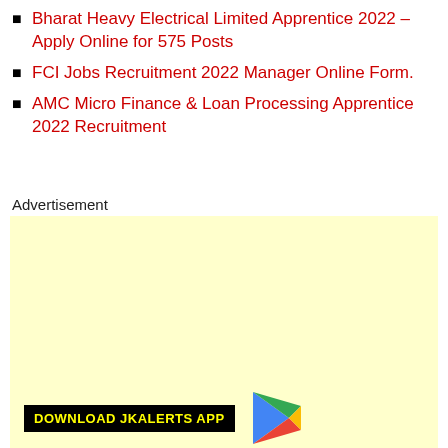Bharat Heavy Electrical Limited Apprentice 2022 – Apply Online for 575 Posts
FCI Jobs Recruitment 2022 Manager Online Form.
AMC Micro Finance & Loan Processing Apprentice 2022 Recruitment
Advertisement
[Figure (other): Yellow advertisement placeholder box with DOWNLOAD JKALERTS APP badge and Google Play logo icon at the bottom.]